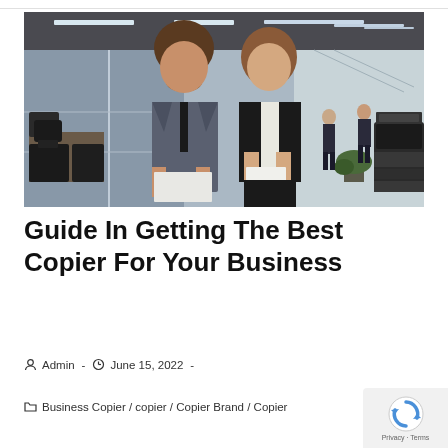[Figure (photo): Two business professionals in formal attire looking at documents near a copier machine in a modern glass-walled office. Two more people are visible walking in the background.]
Guide In Getting The Best Copier For Your Business
Admin · June 15, 2022 ·
Business Copier / copier / Copier Brand / Copier